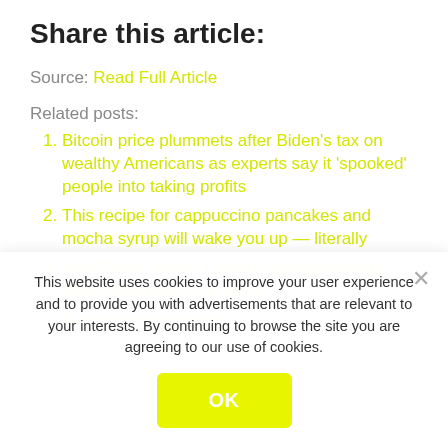Share this article:
Source: Read Full Article
Related posts:
Bitcoin price plummets after Biden's tax on wealthy Americans as experts say it 'spooked' people into taking profits
This recipe for cappuccino pancakes and mocha syrup will wake you up — literally
New Covid variant Lambda ripping through South America found in UK
This website uses cookies to improve your user experience and to provide you with advertisements that are relevant to your interests. By continuing to browse the site you are agreeing to our use of cookies.